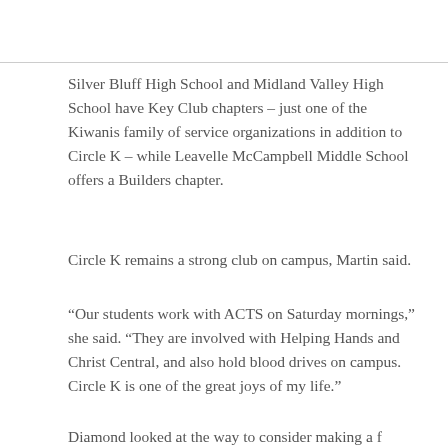Silver Bluff High School and Midland Valley High School have Key Club chapters – just one of the Kiwanis family of service organizations in addition to Circle K – while Leavelle McCampbell Middle School offers a Builders chapter.
Circle K remains a strong club on campus, Martin said.
“Our students work with ACTS on Saturday mornings,” she said. “They are involved with Helping Hands and Christ Central, and also hold blood drives on campus. Circle K is one of the great joys of my life.”
Diamond looked at the way to consider making a f...